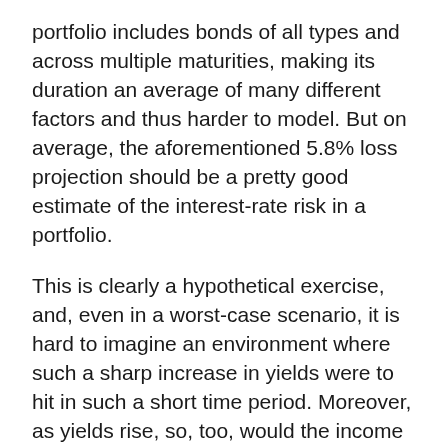portfolio includes bonds of all types and across multiple maturities, making its duration an average of many different factors and thus harder to model. But on average, the aforementioned 5.8% loss projection should be a pretty good estimate of the interest-rate risk in a portfolio.
This is clearly a hypothetical exercise, and, even in a worst-case scenario, it is hard to imagine an environment where such a sharp increase in yields were to hit in such a short time period. Moreover, as yields rise, so, too, would the income generated by a bond portfolio with a consistent strategy, which would quickly start to offset losses. So, while we don't want to minimize the importance of a hypothetical 5.8% short-term price loss, it is a number that suggests many of the more blustery statements about interest-rate risk could be exaggerated.